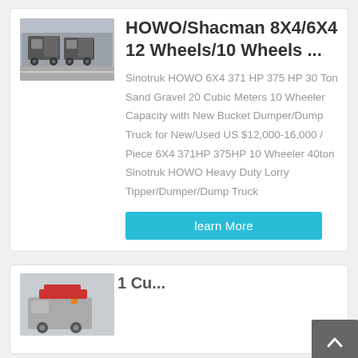[Figure (photo): Photo of HOWO/Shacman dump trucks lined up on a road]
HOWO/Shacman 8X4/6X4 12 Wheels/10 Wheels ...
Sinotruk HOWO 6X4 371 HP 375 HP 30 Ton Sand Gravel 20 Cubic Meters 10 Wheeler Capacity with New Bucket Dumper/Dump Truck for New/Used US $12,000-16,000 / Piece 6X4 371HP 375HP 10 Wheeler 40ton Sinotruk HOWO Heavy Duty Lorry Tipper/Dumper/Dump Truck
learn More
[Figure (photo): Photo of a dump truck, partially visible at the bottom of the page]